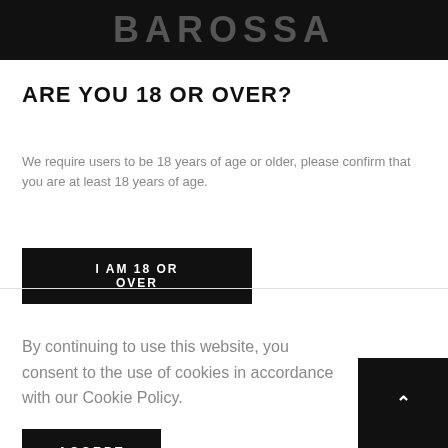BAROSSA
ARE YOU 18 OR OVER?
We require users to be 18 years of age or older, please confirm that you are at least 18 years of age.
I AM 18 OR OVER
By continuing to use this website, you consent to the use of cookies in accordance with our Cookie Policy.
ACCEPT